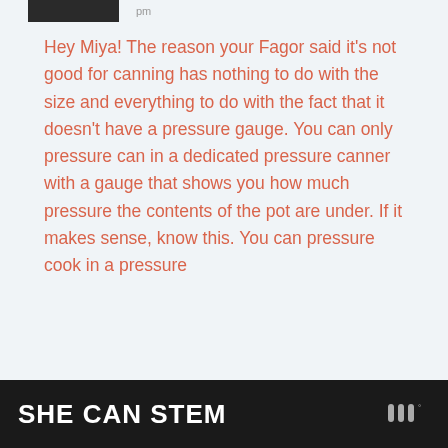[Figure (photo): Dark/black avatar image block at top left of message]
pm
Hey Miya! The reason your Fagor said it's not good for canning has nothing to do with the size and everything to do with the fact that it doesn't have a pressure gauge. You can only pressure can in a dedicated pressure canner with a gauge that shows you how much pressure the contents of the pot are under. If it makes sense, know this. You can pressure cook in a pressure
SHE CAN STEM